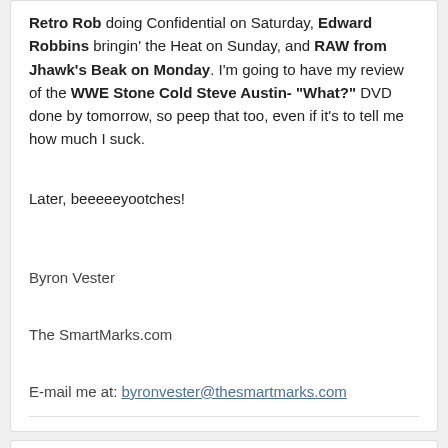Retro Rob doing Confidential on Saturday, Edward Robbins bringin' the Heat on Sunday, and RAW from Jhawk's Beak on Monday. I'm going to have my review of the WWE Stone Cold Steve Austin- "What?" DVD done by tomorrow, so peep that too, even if it's to tell me how much I suck.
Later, beeeeeyootches!
Byron Vester
The SmartMarks.com
E-mail me at: byronvester@thesmartmarks.com
Followers 0